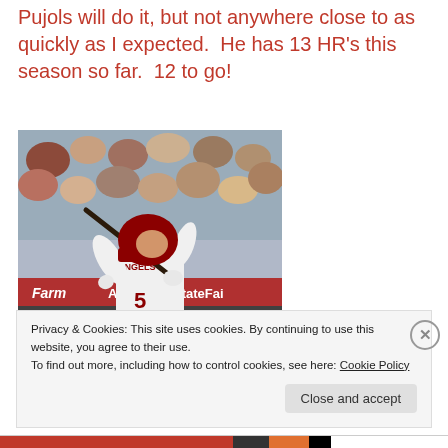Pujols will do it, but not anywhere close to as quickly as I expected.  He has 13 HR's this season so far.  12 to go!
[Figure (photo): Albert Pujols batting in a Los Angeles Angels white uniform with number 5, swinging a bat in front of a crowded stadium. A State Farm advertisement banner is visible behind him.]
Privacy & Cookies: This site uses cookies. By continuing to use this website, you agree to their use.
To find out more, including how to control cookies, see here: Cookie Policy